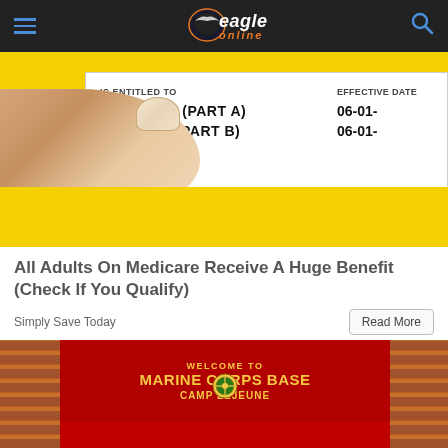Eagle Online
[Figure (photo): Close-up photo of a Medicare card being held by a hand. The white card section shows 'IS ENTITLED TO', 'HOSPITAL (PART A)', 'MEDICAL (PART B)' with EFFECTIVE DATE column showing '06-01-' dates. Yellow background stripe visible.]
All Adults On Medicare Receive A Huge Benefit (Check If You Qualify)
Simply Save Today
[Figure (photo): Photo of the entrance sign to Marine Corps Base Camp Lejeune. Large red sign reads 'WELCOME TO MARINE CORPS BASE CAMP LEJEUNE' in gold/yellow letters, with the Camp Lejeune emblem below. Brick pillars flank the sign, with trees and sky in the background.]